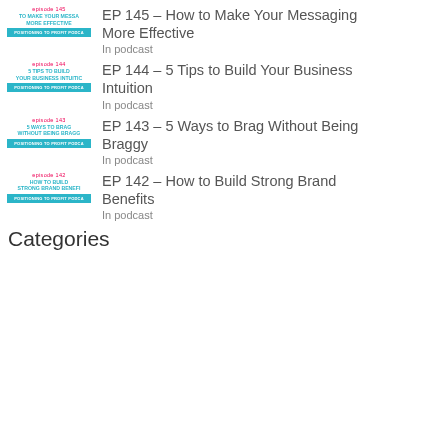[Figure (illustration): Podcast thumbnail for EP 145 showing episode number label in red, title 'TO MAKE YOUR MESSA MORE EFFECTIVE' in cyan, and teal bar with podcast name]
EP 145 – How to Make Your Messaging More Effective
In podcast
[Figure (illustration): Podcast thumbnail for EP 144 showing episode number label in red, title '5 TIPS TO BUILD YOUR BUSINESS INTUITIC' in cyan, and teal bar with podcast name]
EP 144 – 5 Tips to Build Your Business Intuition
In podcast
[Figure (illustration): Podcast thumbnail for EP 143 showing episode number label in red, title '5 WAYS TO BRAG WITHOUT BEING BRAGG' in cyan, and teal bar with podcast name]
EP 143 – 5 Ways to Brag Without Being Braggy
In podcast
[Figure (illustration): Podcast thumbnail for EP 142 showing episode number label in red, title 'HOW TO BUILD STRONG BRAND BENEFI' in cyan, and teal bar with podcast name]
EP 142 – How to Build Strong Brand Benefits
In podcast
Categories